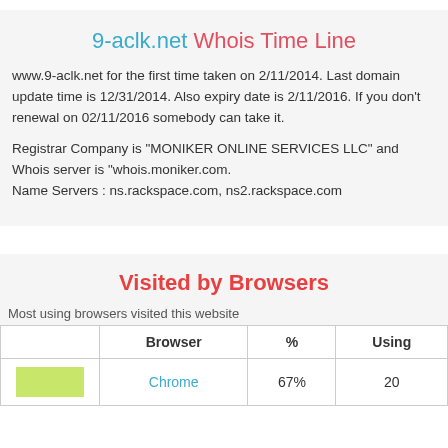9-aclk.net Whois Time Line
www.9-aclk.net for the first time taken on 2/11/2014. Last domain update time is 12/31/2014. Also expiry date is 2/11/2016. If you don't renewal on 02/11/2016 somebody can take it.
Registrar Company is "MONIKER ONLINE SERVICES LLC" and Whois server is "whois.moniker.com.
Name Servers : ns.rackspace.com, ns2.rackspace.com
Visited by Browsers
Most using browsers visited this website
|  | Browser | % | Using |
| --- | --- | --- | --- |
| [bar] | Chrome | 67% | 20 |